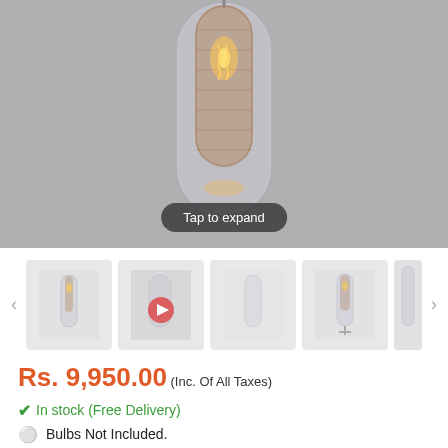[Figure (photo): A glass pendant lamp with an Edison-style filament bulb visible inside a cylindrical double-glass shade, photographed against a grey background. A 'Tap to expand' button overlay is shown at the bottom center.]
[Figure (photo): Thumbnail carousel row showing four thumbnail images of the lamp product (one with a video play button) and a partially visible fifth thumbnail, with left and right navigation arrows.]
Rs. 9,950.00 (Inc. Of All Taxes)
✔ In stock (Free Delivery)
💡 Bulbs Not Included.
EMI starts from ₹838 /month